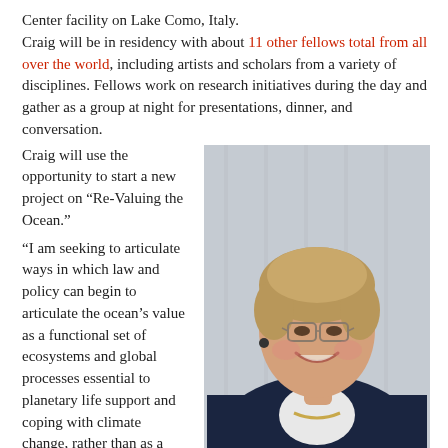Center facility on Lake Como, Italy.
Craig will be in residency with about 11 other fellows total from all over the world, including artists and scholars from a variety of disciplines. Fellows work on research initiatives during the day and gather as a group at night for presentations, dinner, and conversation.
 Craig will use the opportunity to start a new project on “Re-Valuing the Ocean.”
“I am seeking to articulate ways in which law and policy can begin to articulate the ocean’s value as a functional set of ecosystems and global processes essential to planetary life support and coping with climate change, rather than as a source of a series of discrete and unconnected goods (fish and shellfish, oil, natural gas, minerals, etc.),” said Craig.
“I’ll be using my growing grounding in resilience theory and earth systems sciences, including oceanography and marine biology, to
[Figure (photo): Professional headshot of a woman with short blonde hair, wearing glasses and a dark blazer over a white top, smiling at the camera]